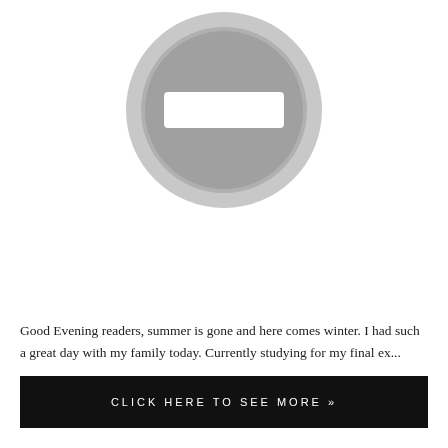[Figure (illustration): A gray no-entry / prohibition sign icon: outer light gray circle ring, inner dark gray filled circle with a white horizontal rectangle bar in the center.]
Good Evening readers, summer is gone and here comes winter. I had such a great day with my family today. Currently studying for my final ex...
CLICK HERE TO SEE MORE »